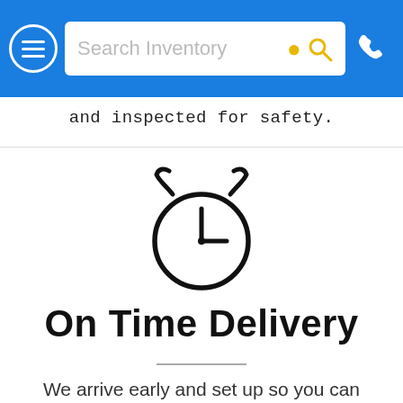Search Inventory
and inspected for safety.
[Figure (illustration): Alarm clock icon — a circle with clock hands and two bells on top, drawn in black outline style]
On Time Delivery
We arrive early and set up so you can enjoy your full rental time.